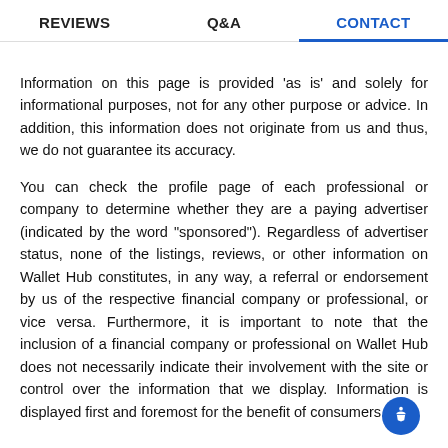REVIEWS   Q&A   CONTACT
Information on this page is provided 'as is' and solely for informational purposes, not for any other purpose or advice. In addition, this information does not originate from us and thus, we do not guarantee its accuracy.
You can check the profile page of each professional or company to determine whether they are a paying advertiser (indicated by the word "sponsored"). Regardless of advertiser status, none of the listings, reviews, or other information on Wallet Hub constitutes, in any way, a referral or endorsement by us of the respective financial company or professional, or vice versa. Furthermore, it is important to note that the inclusion of a financial company or professional on Wallet Hub does not necessarily indicate their involvement with the site or control over the information that we display. Information is displayed first and foremost for the benefit of consumers.
Editorial and user-generated content on this page is not reviewed or otherwise endorsed by any financial institution. In addition, it is